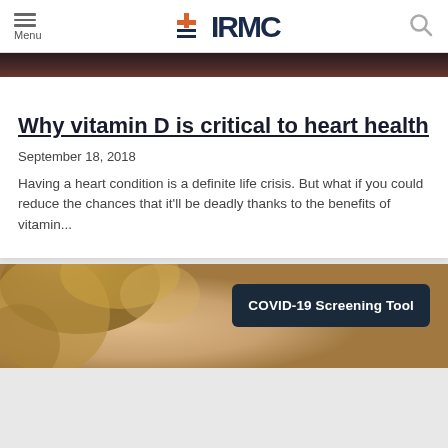Menu | +IRMC | Search
[Figure (photo): Dark image strip at the top of the article card, showing a partial dark/red toned photo]
Why vitamin D is critical to heart health
September 18, 2018
Having a heart condition is a definite life crisis. But what if you could reduce the chances that it'll be deadly thanks to the benefits of vitamin...
[Figure (photo): Partial photo of a person with blonde/curly hair, with a COVID-19 Screening Tool button overlay in dark navy]
COVID-19 Screening Tool